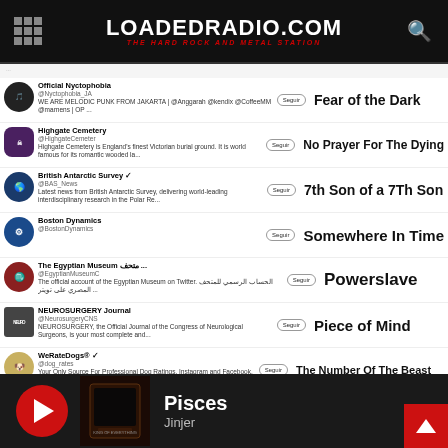LoadedRadio.com — The Hard Rock and Metal Station
[Figure (screenshot): Twitter/social media feed screenshot showing multiple accounts with follow buttons, each paired with Iron Maiden album names on the right side. Accounts: Official Nyctophobia (@Nyctophobia_JA) - Fear of the Dark; Highgate Cemetery (@HighgateCem) - No Prayer For The Dying; British Antarctic Survey (@BAS_News) - 7th Son of a 7Th Son; Boston Dynamics (@BostonDynamics) - Somewhere In Time; The Egyptian Museum (@EgyptianMuseumC) - Powerslave; NEUROSURGERY Journal (@NeurosurgeryCNS) - Piece of Mind; WeRateDogs (@dog_rates) - The Number Of The Beast; The Killers (@thekillers) - Killers; Leytonstone (@Leytonstone) - Iron Maiden]
Fear of the Dark
No Prayer For The Dying
7th Son of a 7Th Son
Somewhere In Time
Powerslave
Piece of Mind
The Number Of The Beast
Killers
Iron Maiden
Pisces
Jinjer